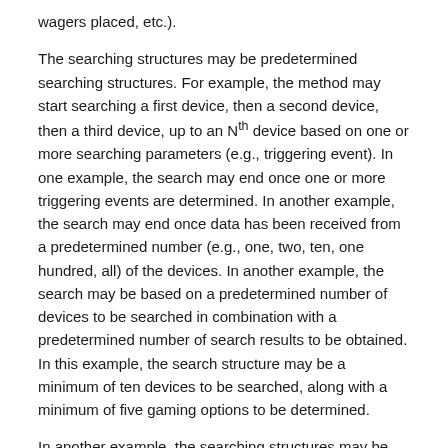wagers placed, etc.).
The searching structures may be predetermined searching structures. For example, the method may start searching a first device, then a second device, then a third device, up to an Nth device based on one or more searching parameters (e.g., triggering event). In one example, the search may end once one or more triggering events are determined. In another example, the search may end once data has been received from a predetermined number (e.g., one, two, ten, one hundred, all) of the devices. In another example, the search may be based on a predetermined number of devices to be searched in combination with a predetermined number of search results to be obtained. In this example, the search structure may be a minimum of ten devices to be searched, along with a minimum of five gaming options to be determined.
In another example, the searching structures may be based on one or more specific games (e.g., baccarat tables, roulette tables, blackjack tables, poker tables, craps tables, Sic Bo tables, etc.). Searching structure may search one or more of these games.